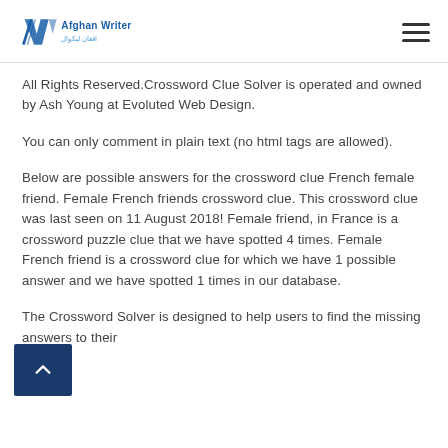Afghan Writer
All Rights Reserved.Crossword Clue Solver is operated and owned by Ash Young at Evoluted Web Design.
You can only comment in plain text (no html tags are allowed).
Below are possible answers for the crossword clue French female friend. Female French friends crossword clue. This crossword clue was last seen on 11 August 2018! Female friend, in France is a crossword puzzle clue that we have spotted 4 times. Female French friend is a crossword clue for which we have 1 possible answer and we have spotted 1 times in our database.
The Crossword Solver is designed to help users to find the missing answers to their